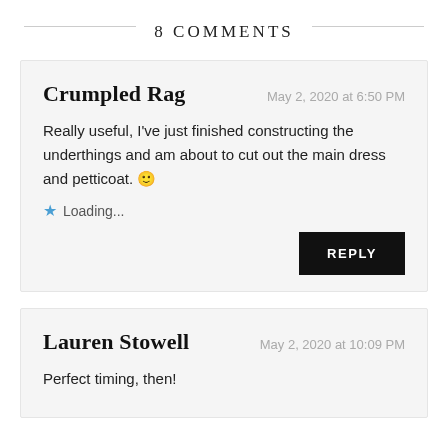8 COMMENTS
Crumpled Rag
May 2, 2020 at 6:50 PM
Really useful, I've just finished constructing the underthings and am about to cut out the main dress and petticoat. 🙂
★ Loading...
REPLY
Lauren Stowell
May 2, 2020 at 10:09 PM
Perfect timing, then!